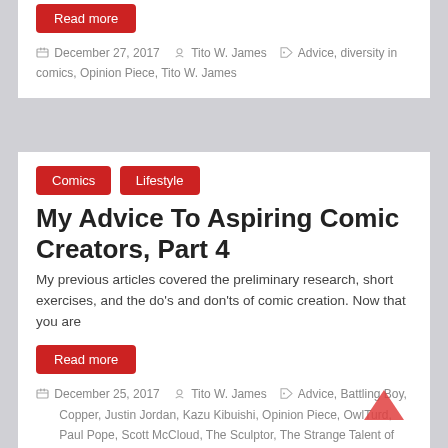Read more
December 27, 2017 · Tito W. James · Advice, diversity in comics, Opinion Piece, Tito W. James
Comics  Lifestyle
My Advice To Aspiring Comic Creators, Part 4
My previous articles covered the preliminary research, short exercises, and the do's and don'ts of comic creation. Now that you are
Read more
December 25, 2017 · Tito W. James · Advice, Battling Boy, Copper, Justin Jordan, Kazu Kibuishi, Opinion Piece, OwlTurd, Paul Pope, Scott McCloud, The Sculptor, The Strange Talent of